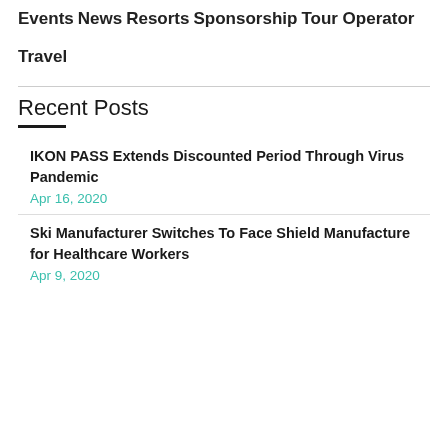Events
News
Resorts
Sponsorship
Tour Operator
Travel
Recent Posts
IKON PASS Extends Discounted Period Through Virus Pandemic
Apr 16, 2020
Ski Manufacturer Switches To Face Shield Manufacture for Healthcare Workers
Apr 9, 2020